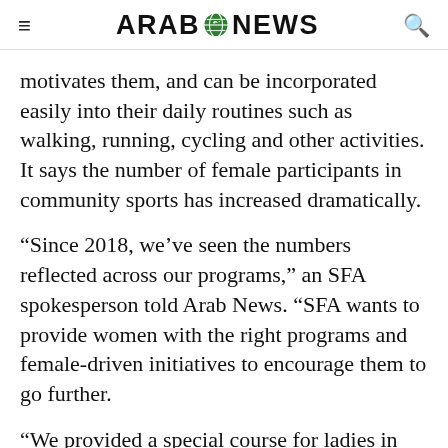ARAB NEWS
motivates them, and can be incorporated easily into their daily routines such as walking, running, cycling and other activities. It says the number of female participants in community sports has increased dramatically.
“Since 2018, we’ve seen the numbers reflected across our programs,” an SFA spokesperson told Arab News. “SFA wants to provide women with the right programs and female-driven initiatives to encourage them to go further.
“We provided a special course for ladies in our Spartan race, there was an area for women at SandClash to compete, and the same goes for our Neighborhood Clubs across the Kingdom for women who prefer to have their own spaces.